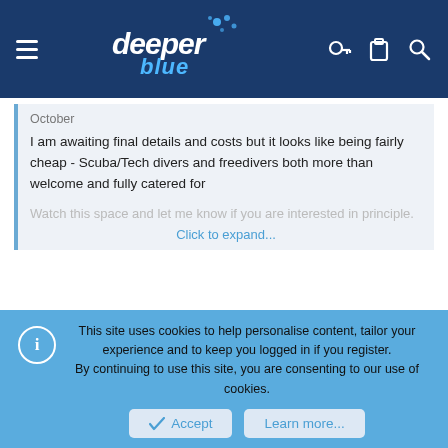deeper blue (website header with navigation icons)
October

I am awaiting final details and costs but it looks like being fairly cheap - Scuba/Tech divers and freedivers both more than welcome and fully catered for

Watch this space and let me know if you are interested in principle.
Click to expand...
I am very interested... Can you send me more details as soon you get it ?
François
Paris
This site uses cookies to help personalise content, tailor your experience and to keep you logged in if you register.
By continuing to use this site, you are consenting to our use of cookies.